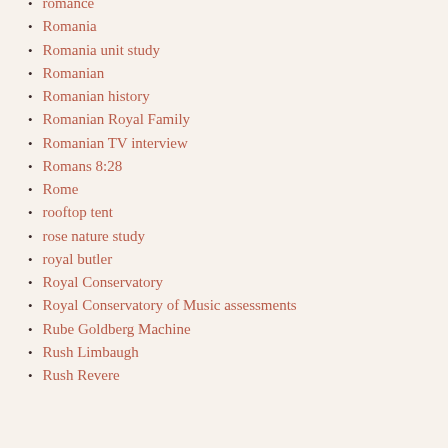romance
Romania
Romania unit study
Romanian
Romanian history
Romanian Royal Family
Romanian TV interview
Romans 8:28
Rome
rooftop tent
rose nature study
royal butler
Royal Conservatory
Royal Conservatory of Music assessments
Rube Goldberg Machine
Rush Limbaugh
Rush Revere